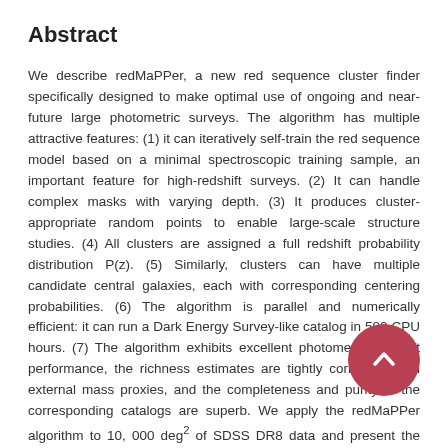Abstract
We describe redMaPPer, a new red sequence cluster finder specifically designed to make optimal use of ongoing and near-future large photometric surveys. The algorithm has multiple attractive features: (1) it can iteratively self-train the red sequence model based on a minimal spectroscopic training sample, an important feature for high-redshift surveys. (2) It can handle complex masks with varying depth. (3) It produces cluster-appropriate random points to enable large-scale structure studies. (4) All clusters are assigned a full redshift probability distribution P(z). (5) Similarly, clusters can have multiple candidate central galaxies, each with corresponding centering probabilities. (6) The algorithm is parallel and numerically efficient: it can run a Dark Energy Survey-like catalog in 500 CPU hours. (7) The algorithm exhibits excellent photometric redshift performance, the richness estimates are tightly correlated with external mass proxies, and the completeness and purity of the corresponding catalogs are superb. We apply the redMaPPer algorithm to 10, 000 deg² of SDSS DR8 data and present the resulting catalog of 25,000 clusters over the redshift range z ∈ [0.08, 0.55]. The